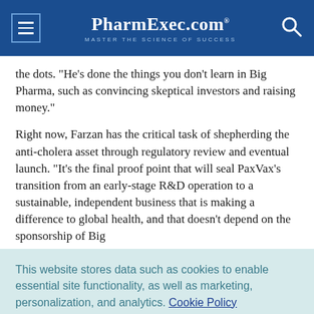PharmExec.com® MASTER THE SCIENCE OF SUCCESS
the dots. "He's done the things you don't learn in Big Pharma, such as convincing skeptical investors and raising money."
Right now, Farzan has the critical task of shepherding the anti-cholera asset through regulatory review and eventual launch. "It's the final proof point that will seal PaxVax's transition from an early-stage R&D operation to a sustainable, independent business that is making a difference to global health, and that doesn't depend on the sponsorship of Big
This website stores data such as cookies to enable essential site functionality, as well as marketing, personalization, and analytics. Cookie Policy
Accept
Deny